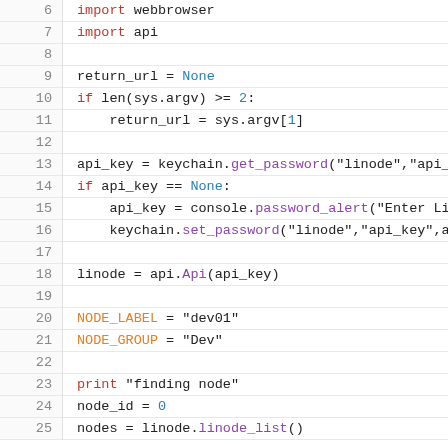[Figure (screenshot): Python source code listing, lines 6-25, showing imports, variable assignments, conditional logic, and API calls with syntax highlighting in monospace font.]